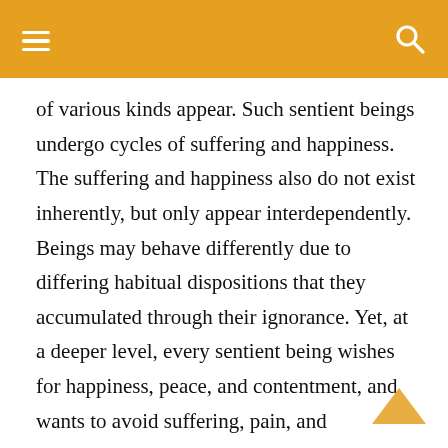≡  🔍
of various kinds appear. Such sentient beings undergo cycles of suffering and happiness. The suffering and happiness also do not exist inherently, but only appear interdependently. Beings may behave differently due to differing habitual dispositions that they accumulated through their ignorance. Yet, at a deeper level, every sentient being wishes for happiness, peace, and contentment, and wants to avoid suffering, pain, and discontentment. The